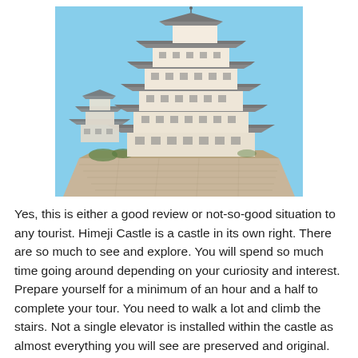[Figure (photo): Photograph of Himeji Castle, a large traditional Japanese white castle with multiple tiered roofs and stone foundation walls, under a clear blue sky. A smaller secondary tower is visible to the left.]
Yes, this is either a good review or not-so-good situation to any tourist. Himeji Castle is a castle in its own right. There are so much to see and explore. You will spend so much time going around depending on your curiosity and interest. Prepare yourself for a minimum of an hour and a half to complete your tour. You need to walk a lot and climb the stairs. Not a single elevator is installed within the castle as almost everything you will see are preserved and original.
Moreover, as I mentioned above, it takes more than an hour to spend in the castle. You will spend another one and a half hours wandering around the vicinity like the Nishioyashiki...